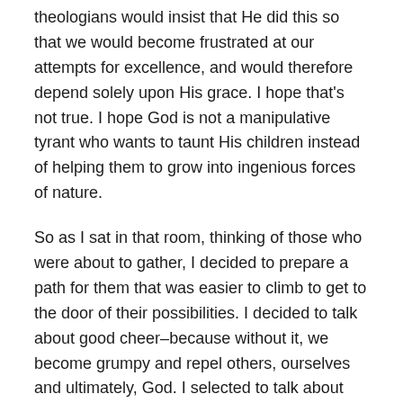theologians would insist that He did this so that we would become frustrated at our attempts for excellence, and would therefore depend solely upon His grace. I hope that's not true. I hope God is not a manipulative tyrant who wants to taunt His children instead of helping them to grow into ingenious forces of nature.
So as I sat in that room, thinking of those who were about to gather, I decided to prepare a path for them that was easier to climb to get to the door of their possibilities. I decided to talk about good cheer–because without it, we become grumpy and repel others, ourselves and ultimately, God. I selected to talk about God Two–yes, a God who actually cares about His children instead of hitting us over the head with ten commandments etched in stone.